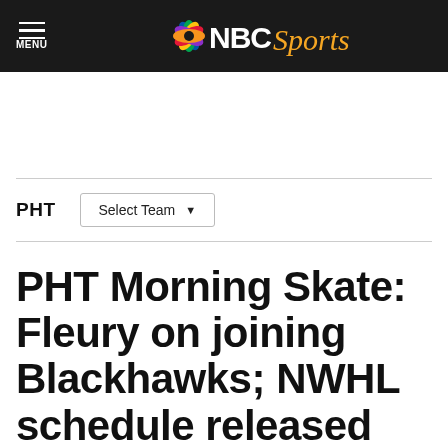NBC Sports
PHT   Select Team ▼
PHT Morning Skate: Fleury on joining Blackhawks; NWHL schedule released